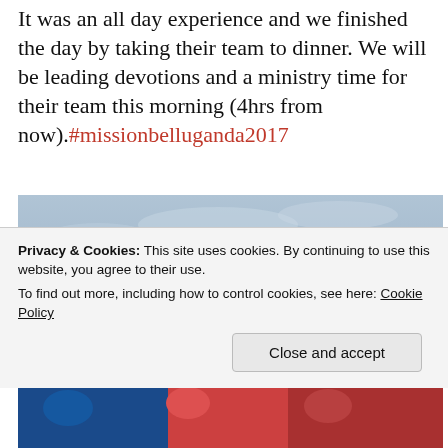It was an all day experience and we finished the day by taking their team to dinner. We will be leading devotions and a ministry time for their team this morning (4hrs from now).#missionbelluganda2017
[Figure (photo): Selfie photo of a person wearing a dark baseball cap at an airfield with a small aircraft visible in the background against an overcast sky]
Privacy & Cookies: This site uses cookies. By continuing to use this website, you agree to their use.
To find out more, including how to control cookies, see here: Cookie Policy
Close and accept
[Figure (photo): Partial view of people at the bottom of the page, showing colorful clothing]